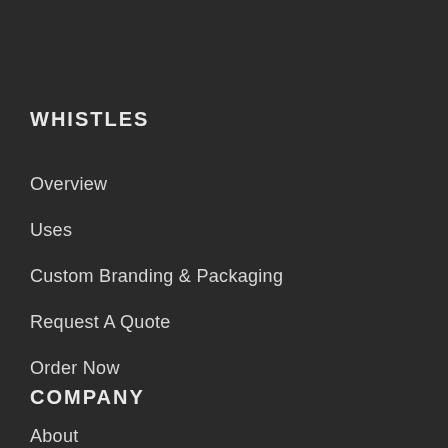WHISTLES
Overview
Uses
Custom Branding & Packaging
Request A Quote
Order Now
COMPANY
About